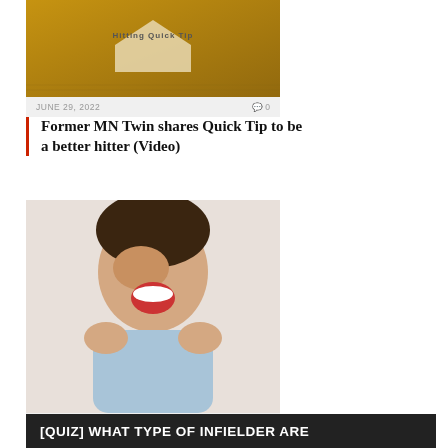[Figure (photo): Baseball hitting quick tip image with home plate and brown/tan background]
JUNE 29, 2022   0
Former MN Twin shares Quick Tip to be a better hitter (Video)
[Figure (photo): Young man laughing and covering his eye with his hand, wearing a blue shirt, white background]
MAY 9, 2022   0
Hilarious Baseball Moments
[QUIZ] WHAT TYPE OF INFIELDER ARE